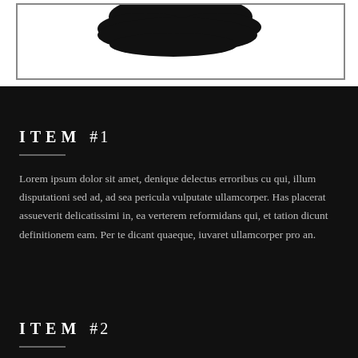[Figure (illustration): Partial black silhouette/blob shape visible at top of white bordered image box, cropped at top of page]
ITEM #1
Lorem ipsum dolor sit amet, denique delectus erroribus cu qui, illum disputationi sed ad, ad sea pericula vulputate ullamcorper. Has placerat assueverit delicatissimi in, ea verterem reformidans qui, et tation dicunt definitionem eam. Per te dicant quaeque, iuvaret ullamcorper pro an.
ITEM #2